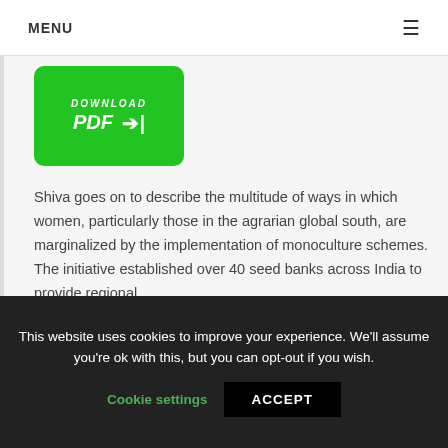MENU ≡
[Figure (other): Green download PDF button with white bold italic text 'DOWNLOAD' and 'PDF →|']
Shiva goes on to describe the multitude of ways in which women, particularly those in the agrarian global south, are marginalized by the implementation of monoculture schemes. The initiative established over 40 seed banks across India to provide regional
This website uses cookies to improve your experience. We'll assume you're ok with this, but you can opt-out if you wish.
Cookie settings  ACCEPT